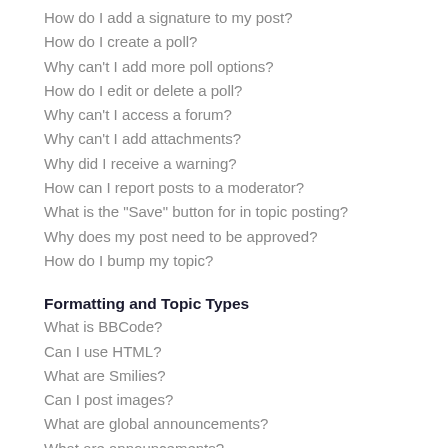How do I add a signature to my post?
How do I create a poll?
Why can't I add more poll options?
How do I edit or delete a poll?
Why can't I access a forum?
Why can't I add attachments?
Why did I receive a warning?
How can I report posts to a moderator?
What is the "Save" button for in topic posting?
Why does my post need to be approved?
How do I bump my topic?
Formatting and Topic Types
What is BBCode?
Can I use HTML?
What are Smilies?
Can I post images?
What are global announcements?
What are announcements?
What are sticky topics?
What are locked topics?
What are topic icons?